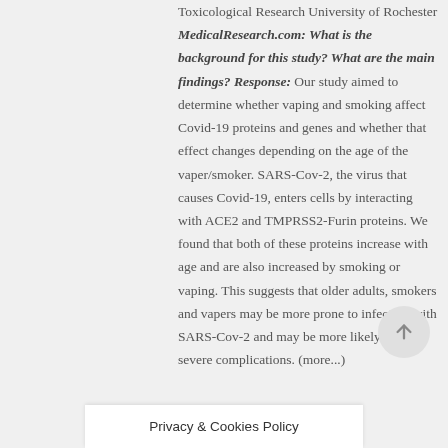Toxicological Research University of Rochester MedicalResearch.com: What is the background for this study? What are the main findings? Response: Our study aimed to determine whether vaping and smoking affect Covid-19 proteins and genes and whether that effect changes depending on the age of the vaper/smoker. SARS-Cov-2, the virus that causes Covid-19, enters cells by interacting with ACE2 and TMPRSS2-Furin proteins. We found that both of these proteins increase with age and are also increased by smoking or vaping. This suggests that older adults, smokers and vapers may be more prone to infection with SARS-Cov-2 and may be more likely to have severe complications. (more...)
Privacy & Cookies Policy